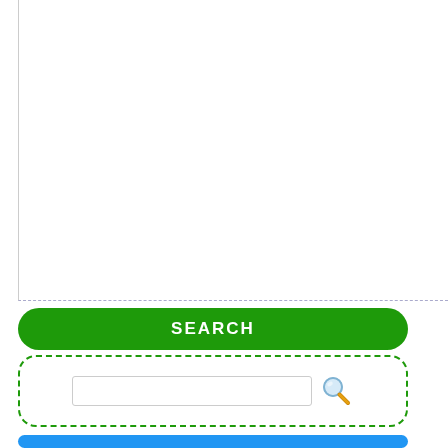[Figure (screenshot): White empty box area with thin left border and dashed bottom border]
SEARCH
[Figure (screenshot): Search input box with a magnifying glass icon inside a dashed green rounded border box]
My Music Tools
[Figure (other): Blue rounded bar at bottom]